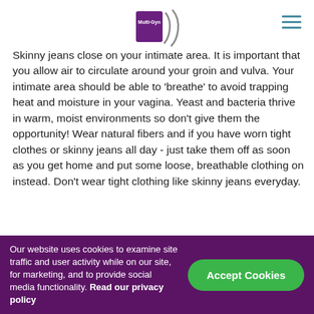Multi-Gyn logo and hamburger menu
Skinny jeans close on your intimate area. It is important that you allow air to circulate around your groin and vulva. Your intimate area should be able to 'breathe' to avoid trapping heat and moisture in your vagina. Yeast and bacteria thrive in warm, moist environments so don't give them the opportunity! Wear natural fibers and if you have worn tight clothes or skinny jeans all day - just take them off as soon as you get home and put some loose, breathable clothing on instead. Don't wear tight clothing like skinny jeans everyday.
Respect the natural balance of
Our website uses cookies to examine site traffic and user activity while on our site, for marketing, and to provide social media functionality. Read our privacy policy
Accept Cookies